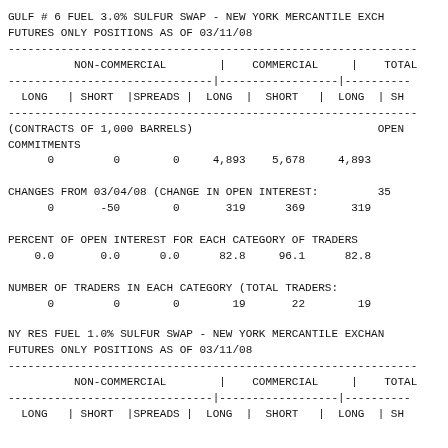GULF # 6 FUEL 3.0% SULFUR SWAP - NEW YORK MERCANTILE EXCHANGE
FUTURES ONLY POSITIONS AS OF 03/11/08
| NON-COMMERCIAL LONG | NON-COMMERCIAL SHORT | SPREADS | COMMERCIAL LONG | COMMERCIAL SHORT | TOTAL LONG | TOTAL SHORT |
| --- | --- | --- | --- | --- | --- | --- |
| 0 | 0 | 0 | 4,893 | 5,678 | 4,893 |  |
| 0 | -50 | 0 | 319 | 369 | 319 |  |
| 0.0 | 0.0 | 0.0 | 82.8 | 96.1 | 82.8 |  |
| 0 | 0 | 0 | 19 | 22 | 19 |  |
NY RES FUEL 1.0% SULFUR SWAP - NEW YORK MERCANTILE EXCHANGE
FUTURES ONLY POSITIONS AS OF 03/11/08
| NON-COMMERCIAL LONG | NON-COMMERCIAL SHORT | SPREADS | COMMERCIAL LONG | COMMERCIAL SHORT | TOTAL LONG | TOTAL SHORT |
| --- | --- | --- | --- | --- | --- | --- |